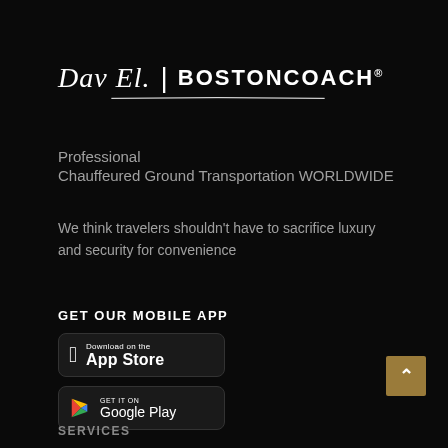[Figure (logo): Dav El | BostonCoach combined logo on black background with decorative underline]
Professional
Chauffeured Ground Transportation WORLDWIDE
We think travelers shouldn’t have to sacrifice luxury and security for convenience
GET OUR MOBILE APP
[Figure (screenshot): Download on the App Store button]
[Figure (screenshot): Get it on Google Play button]
SERVICES